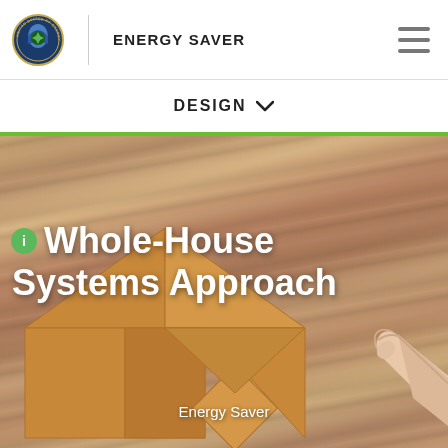ENERGY SAVER
DESIGN
[Figure (screenshot): Tangram wooden puzzle pieces arranged as a house shape on a wood grain background, with a hand reaching in from the right. Overlaid text reads 'Whole-House Systems Approach' and 'Energy Saver'.]
Whole-House Systems Approach
Energy Saver